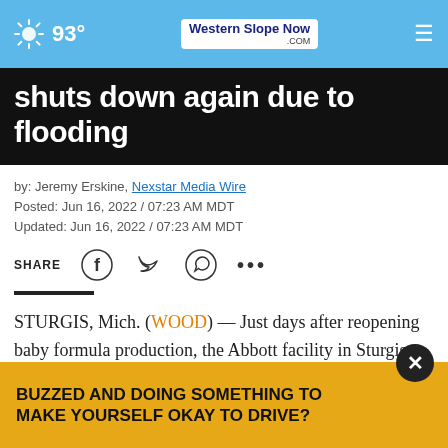93° Western Slope Now .COM
shuts down again due to flooding
by: Jeremy Erskine, Nexstar Media Wire
Posted: Jun 16, 2022 / 07:23 AM MDT
Updated: Jun 16, 2022 / 07:23 AM MDT
SHARE
STURGIS, Mich. (WOOD) — Just days after reopening baby formula production, the Abbott facility in Sturgis, Michigan, is once again stopping production
In a st... es the
BUZZED AND DOING SOMETHING TO MAKE YOURSELF OKAY TO DRIVE?